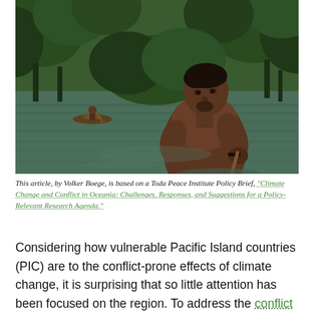[Figure (photo): A shirtless man holding a paddle or stick stands near a river or waterway surrounded by lush green mangrove trees. In the background, another person is paddling a small boat on the greenish water.]
This article, by Volker Boege, is based on a Toda Peace Institute Policy Brief, "Climate Change and Conflict in Oceania: Challenges, Responses, and Suggestions for a Policy-Relevant Research Agenda."
Considering how vulnerable Pacific Island countries (PIC) are to the conflict-prone effects of climate change, it is surprising that so little attention has been focused on the region. To address the conflict potential of the effects of climate change, as well as of adaptation and mitigation policies and technologies, policymakers must draw upon